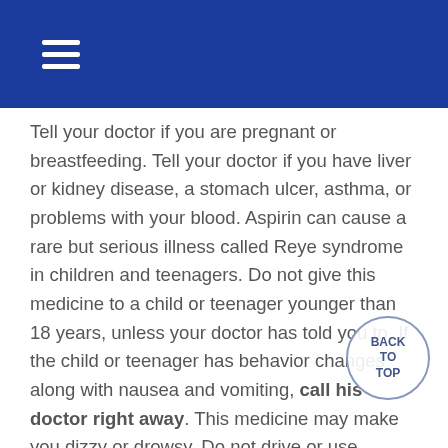≡
Tell your doctor if you are pregnant or breastfeeding. Tell your doctor if you have liver or kidney disease, a stomach ulcer, asthma, or problems with your blood. Aspirin can cause a rare but serious illness called Reye syndrome in children and teenagers. Do not give this medicine to a child or teenager younger than 18 years, unless your doctor has told you to. If the child or teenager has behavior changes along with nausea and vomiting, call his doctor right away. This medicine may make you dizzy or drowsy. Do not drive or use machines if you are not alert. Do not have foods, drinks, or other medicines that contain caffeine. Too much caffeine can cause unwanted side effects. Carefully check the labels of all other medicines you